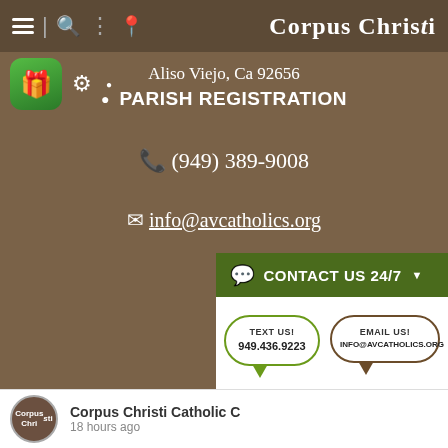Corpus Christi
Aliso Viejo, Ca 92656
PARISH REGISTRATION
(949) 389-9008
info@avcatholics.org
Instagram
Facebook
YouTube
Like Us on F...
[Figure (infographic): Contact Us 24/7 popup with two speech bubbles: TEXT US! 949.436.9223 and EMAIL US! INFO@AVCATHOLICS.ORG]
Corpus Christi Catholic C...
18 hours ago